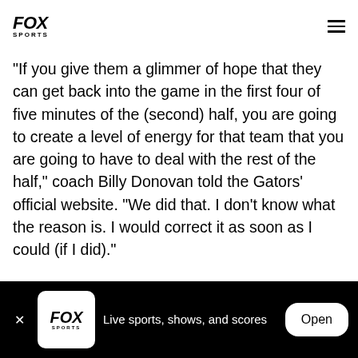FOX SPORTS
"If you give them a glimmer of hope that they can get back into the game in the first four of five minutes of the (second) half, you are going to create a level of energy for that team that you are going to have to deal with the rest of the half," coach Billy Donovan told the Gators' official website. "We did that. I don't know what the reason is. I would correct it as soon as I could (if I did)."
FOX Sports — Live sports, shows, and scores — Open